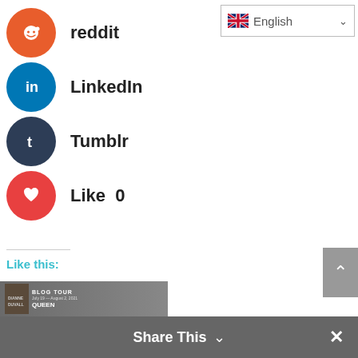[Figure (infographic): Reddit social share button with orange circle icon and 'reddit' label]
[Figure (infographic): LinkedIn social share button with blue circle icon and 'LinkedIn' label]
[Figure (infographic): Tumblr social share button with dark blue circle icon and 'Tumblr' label]
[Figure (infographic): Like button with red circle heart icon and 'Like 0' label]
[Figure (screenshot): Language selector dropdown showing English with UK flag]
Like this:
Loading...
También podría interesarte
[Figure (screenshot): Bottom share bar with 'Share This' text and close button, blog tour thumbnail image at bottom left]